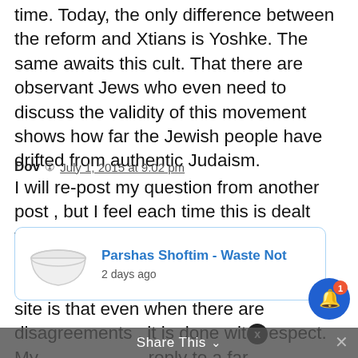time. Today, the only difference between the reform and Xtians is Yoshke. The same awaits this cult. That there are observant Jews who even need to discuss the validity of this movement shows how far the Jewish people have drifted from authentic Judaism.
Dov  July 1, 2015 at 9:02 pm
I will re-post my question from another post , but I feel each time this is dealt with the crux of this issue is not answered —-Thanks for the thoughtful replies , what i admire most about this site is that even when there are disagreements , it is done with respect. My reply to a far acting in the prove him be correct. We have seen many innovations
[Figure (screenshot): Popup notification card showing an image of a white bowl and text 'Parshas Shoftim - Waste Not' with subtitle '2 days ago']
Share This